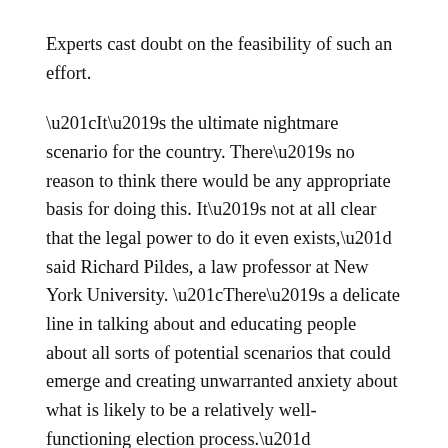Experts cast doubt on the feasibility of such an effort.
“It’s the ultimate nightmare scenario for the country. There’s no reason to think there would be any appropriate basis for doing this. It’s not at all clear that the legal power to do it even exists,” said Richard Pildes, a law professor at New York University. “There’s a delicate line in talking about and educating people about all sorts of potential scenarios that could emerge and creating unwarranted anxiety about what is likely to be a relatively well-functioning election process.”
Such a scenario is unlikely, Richard Hasen, a law professor and election expert at the University of California, Irvine tweeted Thursday. He noted he did not see a way in which lawmakers could legally change the manner in which they chose electors after people started voting. Several battleground states, including Michigan, Pennsylvania, and